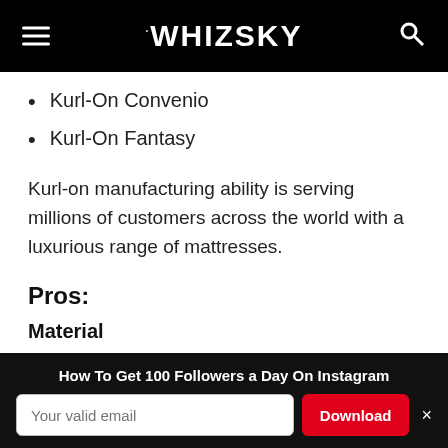WHIZSKY
Kurl-On Convenio
Kurl-On Fantasy
Kurl-on manufacturing ability is serving millions of customers across the world with a luxurious range of mattresses.
Pros:
Material
The coir used for Kurlon Orthopaedic Mattresses are of good quality.
How To Get 100 Followers a Day On Instagram | Your valid email | Download